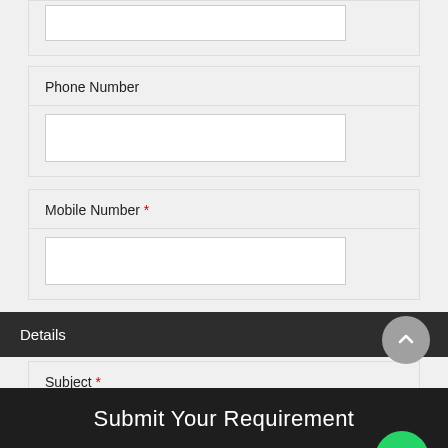Phone Number
Mobile Number *
Details
Subject *
Submit Your Requirement